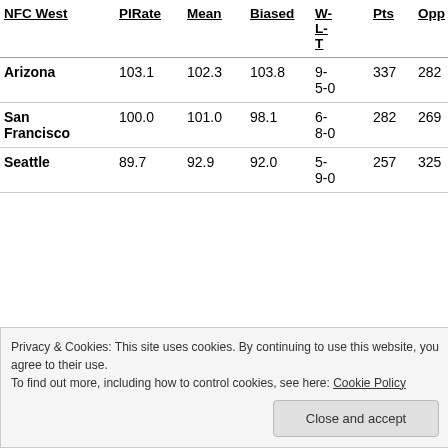| NFC West | PIRate | Mean | Biased | W-L-T | Pts | Opp |
| --- | --- | --- | --- | --- | --- | --- |
| Arizona | 103.1 | 102.3 | 103.8 | 9-5-0 | 337 | 282 |
| San Francisco | 100.0 | 101.0 | 98.1 | 6-8-0 | 282 | 269 |
| Seattle | 89.7 | 92.9 | 92.0 | 5-9-0 | 257 | 325 |
Privacy & Cookies: This site uses cookies. By continuing to use this website, you agree to their use. To find out more, including how to control cookies, see here: Cookie Policy